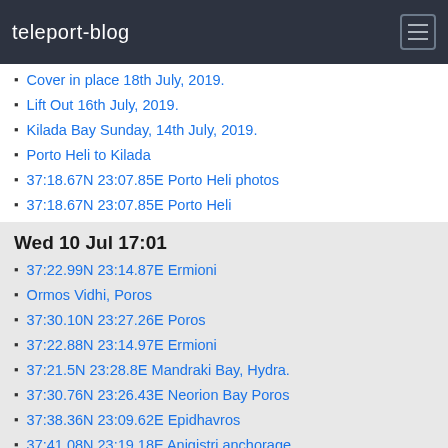teleport-blog
Cover in place 18th July, 2019.
Lift Out 16th July, 2019.
Kilada Bay Sunday, 14th July, 2019.
Porto Heli to Kilada
37:18.67N 23:07.85E Porto Heli photos
37:18.67N 23:07.85E Porto Heli
Wed 10 Jul 17:01
37:22.99N 23:14.87E Ermioni
Ormos Vidhi, Poros
37:30.10N 23:27.26E Poros
37:22.88N 23:14.97E Ermioni
37:21.5N 23:28.8E Mandraki Bay, Hydra.
37:30.76N 23:26.43E Neorion Bay Poros
37:38.36N 23:09.62E Epidhavros
37:41.08N 23:19.18E Anigistri anchorage
Mon 1 Jul 11:11
37:44.68N 23:25.65E AEIGINA
Jun 2019